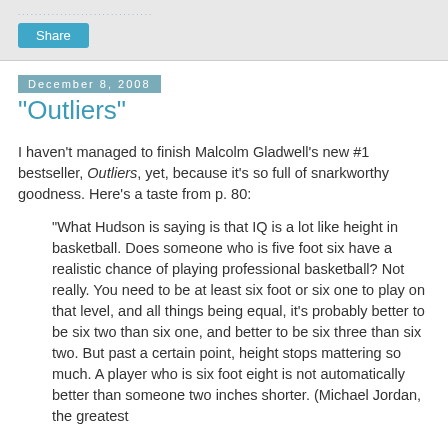Share
December 8, 2008
"Outliers"
I haven't managed to finish Malcolm Gladwell's new #1 bestseller, Outliers, yet, because it's so full of snarkworthy goodness. Here's a taste from p. 80:
“What Hudson is saying is that IQ is a lot like height in basketball. Does someone who is five foot six have a realistic chance of playing professional basketball? Not really. You need to be at least six foot or six one to play on that level, and all things being equal, it’s probably better to be six two than six one, and better to be six three than six two. But past a certain point, height stops mattering so much. A player who is six foot eight is not automatically better than someone two inches shorter. (Michael Jordan, the greatest basketball player who ever lived, is after all) A basketball